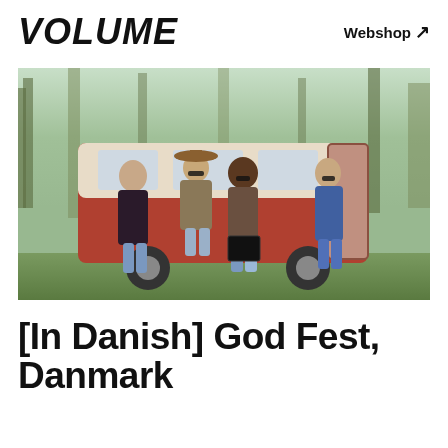VOLUME
Webshop ↗
[Figure (photo): Four people posing casually in front of a vintage red and white VW bus/camper van outdoors in a wooded area. The group includes people wearing jeans and casual clothes, with one person wearing a cowboy hat and sunglasses. A black speaker/amplifier sits on the ground in front of them.]
[In Danish] God Fest, Danmark